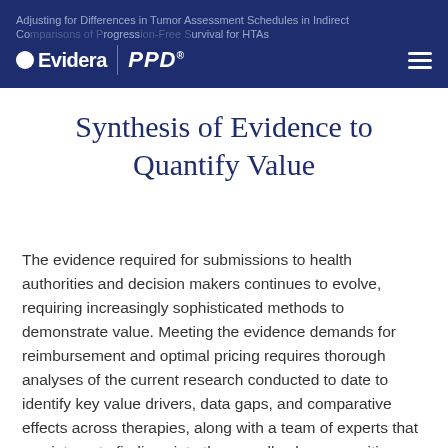Adjusting for Differences in Tumor Assessment Schedules in Indirect Comparisons of Progression-Free Survival for HTAs
Synthesis of Evidence to Quantify Value
The evidence required for submissions to health authorities and decision makers continues to evolve, requiring increasingly sophisticated methods to demonstrate value. Meeting the evidence demands for reimbursement and optimal pricing requires thorough analyses of the current research conducted to date to identify key value drivers, data gaps, and comparative effects across therapies, along with a team of experts that can integrate findings into the overall value proposition. Evidera has a team of scientists...